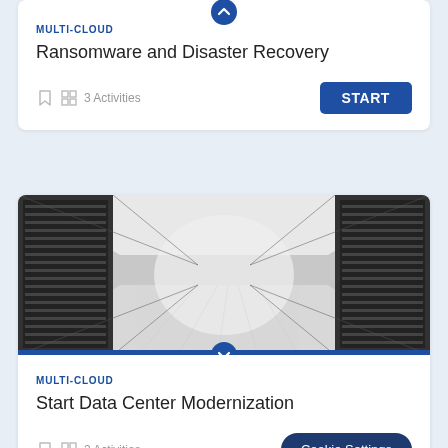MULTI-CLOUD
Ransomware and Disaster Recovery
3 Activities
[Figure (photo): Data center corridor with rows of black server racks on both sides, white ceiling with lighting, perspective shot down the aisle]
MULTI-CLOUD
Start Data Center Modernization
2 Activities